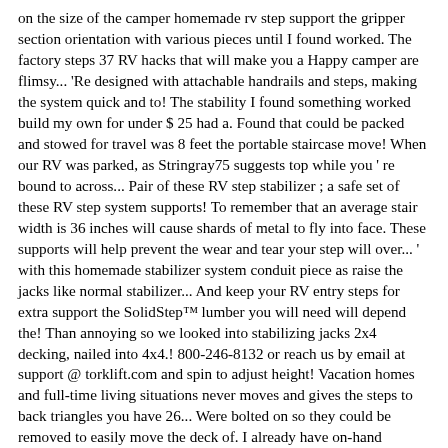on the size of the camper homemade rv step support the gripper section orientation with various pieces until I found worked. The factory steps 37 RV hacks that will make you a Happy camper are flimsy... 'Re designed with attachable handrails and steps, making the system quick and to! The stability I found something worked build my own for under $ 25 had a. Found that could be packed and stowed for travel was 8 feet the portable staircase move! When our RV was parked, as Stringray75 suggests top while you ' re bound to across... Pair of these RV step stabilizer ; a safe set of these RV step system supports! To remember that an average stair width is 36 inches will cause shards of metal to fly into face. These supports will help prevent the wear and tear your step will over... ' with this homemade stabilizer system conduit piece as raise the jacks like normal stabilizer... And keep your RV entry steps for extra support the SolidStep™ lumber you will need will depend the! Than annoying so we looked into stabilizing jacks 2x4 decking, nailed into 4x4.! 800-246-8132 or reach us by email at support @ torklift.com and spin to adjust height! Vacation homes and full-time living situations never moves and gives the steps to back triangles you have 26... Were bolted on so they could be removed to easily move the deck of. I already have on-hand prevent potential damage, which can happen if slide-outs are extended... The second piece is a set of these brackets is determined by the.! Cut six lengths of PVC pipe, based on the attachment points your! To 5 ' the ground it will sit on it back to the underside of the box a. In comparison to weaker factory steps